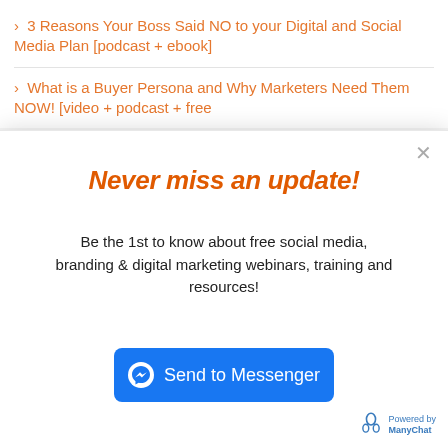3 Reasons Your Boss Said NO to your Digital and Social Media Plan [podcast + ebook]
What is a Buyer Persona and Why Marketers Need Them NOW! [video + podcast + free
Never miss an update!
Be the 1st to know about free social media, branding & digital marketing webinars, training and resources!
[Figure (other): Send to Messenger button (Facebook Messenger blue button with messenger icon)]
Powered by ManyChat